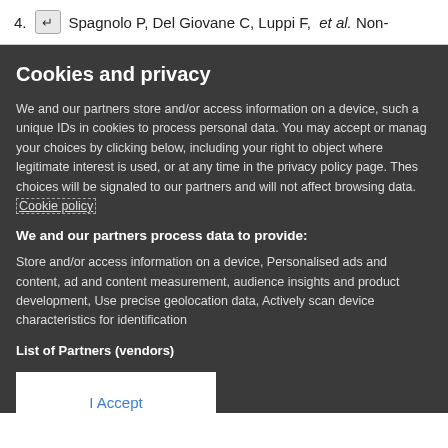4.  ↵  Spagnolo P, Del Giovane C, Luppi F, et al. Non-
Cookies and privacy
We and our partners store and/or access information on a device, such a unique IDs in cookies to process personal data. You may accept or manage your choices by clicking below, including your right to object where legitimate interest is used, or at any time in the privacy policy page. These choices will be signaled to our partners and will not affect browsing data. Cookie policy
We and our partners process data to provide:
Store and/or access information on a device, Personalised ads and content, ad and content measurement, audience insights and product development, Use precise geolocation data, Actively scan device characteristics for identification
List of Partners (vendors)
I Accept